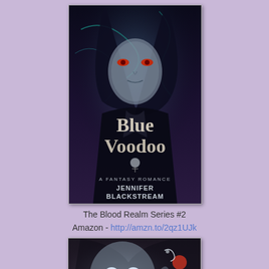[Figure (illustration): Book cover for 'Blue Voodoo: A Fantasy Romance' by Jennifer Blackstream. Features a dark-haired man with glowing eyes against a dark mystical background. Title in large silver/white text, subtitle 'A Fantasy Romance' and author name below.]
The Blood Realm Series #2
Amazon - http://amzn.to/2qz1UJk
[Figure (photo): Partial view of a pale male figure with light eyes, possibly a vampire character, against a dark background with red elements visible on the right side.]